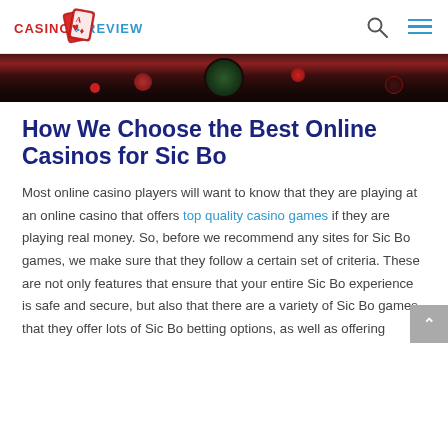Casino Reviews [logo]
[Figure (photo): Dark casino-themed hero image showing roulette chips and table in dark red/black tones]
How We Choose the Best Online Casinos for Sic Bo
Most online casino players will want to know that they are playing at an online casino that offers top quality casino games if they are playing real money. So, before we recommend any sites for Sic Bo games, we make sure that they follow a certain set of criteria. These are not only features that ensure that your entire Sic Bo experience is safe and secure, but also that there are a variety of Sic Bo games, that they offer lots of Sic Bo betting options, as well as offering